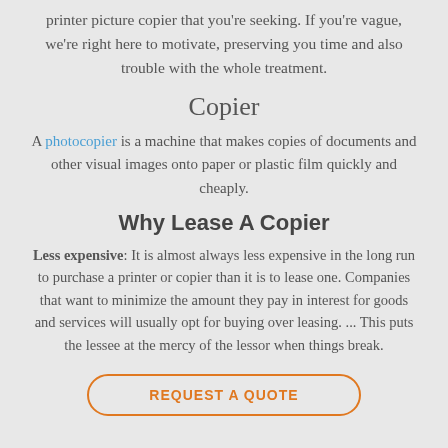printer picture copier that you're seeking. If you're vague, we're right here to motivate, preserving you time and also trouble with the whole treatment.
Copier
A photocopier is a machine that makes copies of documents and other visual images onto paper or plastic film quickly and cheaply.
Why Lease A Copier
Less expensive: It is almost always less expensive in the long run to purchase a printer or copier than it is to lease one. Companies that want to minimize the amount they pay in interest for goods and services will usually opt for buying over leasing. ... This puts the lessee at the mercy of the lessor when things break.
REQUEST A QUOTE